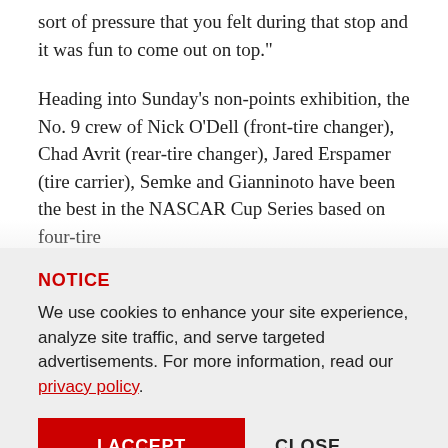sort of pressure that you felt during that stop and it was fun to come out on top."
Heading into Sunday's non-points exhibition, the No. 9 crew of Nick O'Dell (front-tire changer), Chad Avrit (rear-tire changer), Jared Erspamer (tire carrier), Semke and Gianninoto have been the best in the NASCAR Cup Series based on four-tire
NOTICE
We use cookies to enhance your site experience, analyze site traffic, and serve targeted advertisements. For more information, read our privacy policy.
I ACCEPT
CLOSE